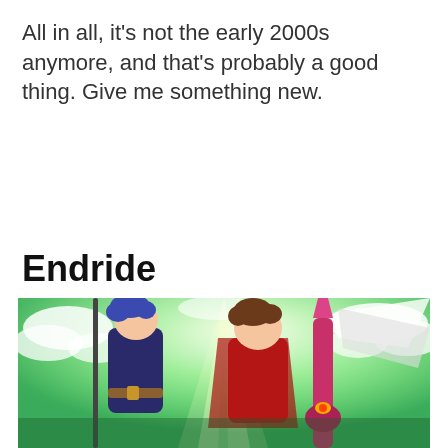All in all, it's not the early 2000s anymore, and that's probably a good thing. Give me something new.
Endride
[Figure (illustration): Anime promotional art for 'Endride' showing two male characters — one with blue hair holding a staff/spear wearing dark blue outfit, and one with brown hair in a red cape holding a pink/red fantasy weapon — set against a dramatic green and white sky background with clouds and light rays.]